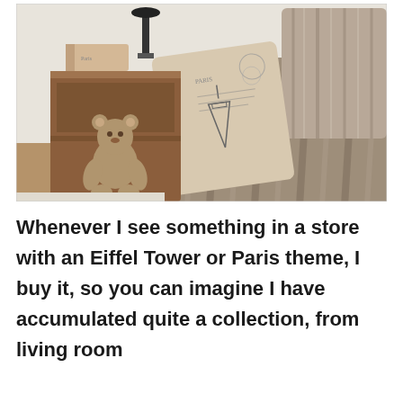[Figure (photo): Interior room photo showing a wooden side table/cube with a teddy bear inside and a decorative book and lamp on top, next to a striped couch/bench with an Eiffel Tower Paris-themed postcard pillow and rustic wood-grain pillows.]
Whenever I see something in a store with an Eiffel Tower or Paris theme, I buy it, so you can imagine I have accumulated quite a collection, from living room